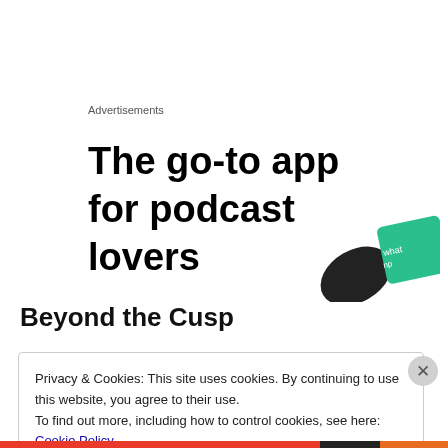Advertisements
[Figure (illustration): Advertisement banner for a podcast app. Large bold text reads 'The go-to app for podcast lovers' with a dark phone/device graphic and a green card-like element with small white text in the top right corner.]
Beyond the Cusp
Privacy & Cookies: This site uses cookies. By continuing to use this website, you agree to their use.
To find out more, including how to control cookies, see here: Cookie Policy
Close and accept